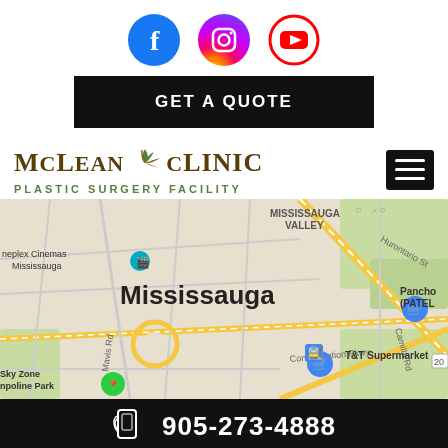[Figure (logo): Facebook, Instagram, YouTube social media icons]
GET A QUOTE
[Figure (logo): McLean Clinic Plastic Surgery Facility logo with leaf/scissors icon]
[Figure (map): Google Maps view of Mississauga area showing Confederation Pkwy, Mavis Rd, Dundas St W, T&T Supermarket, Sky Zone Trampoline Park, Pancho (PATEL), Cineplex Cinemas Mississauga]
905-273-4888